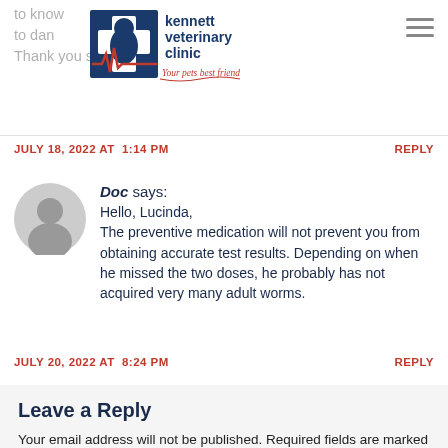to know and to know that he doesn't continue to damage his joints with his high activity. Thank you so much.
kennett veterinary clinic — Your pets best friend
JULY 18, 2022 AT 1:14 PM    REPLY
Doc says: Hello, Lucinda, The preventive medication will not prevent you from obtaining accurate test results. Depending on when he missed the two doses, he probably has not acquired very many adult worms.
JULY 20, 2022 AT 8:24 PM    REPLY
Leave a Reply
Your email address will not be published. Required fields are marked *